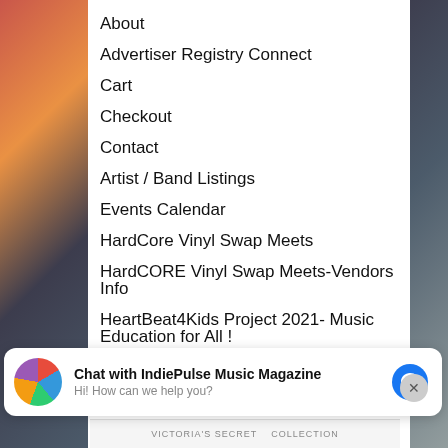About
Advertiser Registry Connect
Cart
Checkout
Contact
Artist / Band Listings
Events Calendar
HardCore Vinyl Swap Meets
HardCORE Vinyl Swap Meets-Vendors Info
HeartBeat4Kids Project 2021- Music Education for All !
Home
IMP Web
IndiePulse Merch
IndiePulse Print Edition Magazine
IndieShop
IPM News
Chat with IndiePulse Music Magazine
Hi! How can we help you?